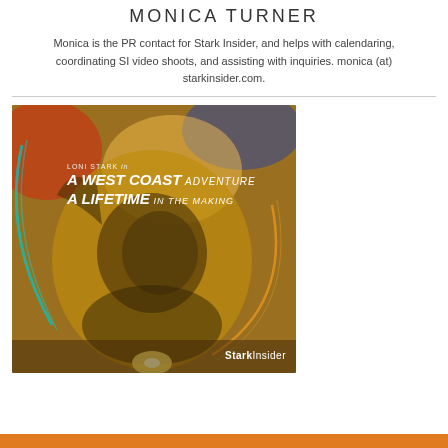MONICA TURNER
Monica is the PR contact for Stark Insider, and helps with calendaring, coordinating SI video shoots, and assisting with inquiries. monica (at) starkinsider.com.
[Figure (photo): Movie poster style image with cosmic/space background in oranges, reds, and blues. Text overlay reads 'LONI STARK in A WEST COAST ADVENTURE A LIFETIME IN THE MAKING'. A person's face/figure is visible in the center. 'StarkInsider' watermark in lower right.]